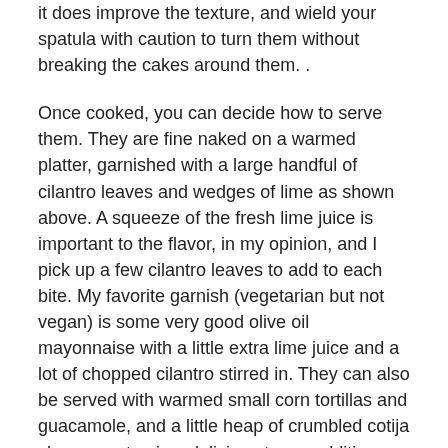it does improve the texture, and wield your spatula with caution to turn them without breaking the cakes around them. .
Once cooked, you can decide how to serve them. They are fine naked on a warmed platter, garnished with a large handful of cilantro leaves and wedges of lime as shown above. A squeeze of the fresh lime juice is important to the flavor, in my opinion, and I pick up a few cilantro leaves to add to each bite. My favorite garnish (vegetarian but not vegan) is some very good olive oil mayonnaise with a little extra lime juice and a lot of chopped cilantro stirred in. They can also be served with warmed small corn tortillas and guacamole, and a little heap of crumbled cotija cheese on top is a delicious tangy addition; the vegans at the table can just omit it.